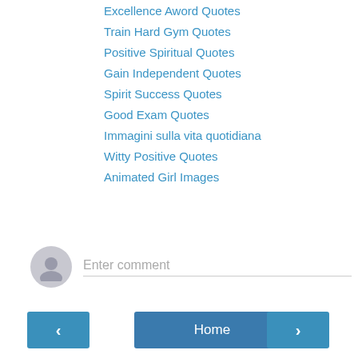Excellence Aword Quotes
Train Hard Gym Quotes
Positive Spiritual Quotes
Gain Independent Quotes
Spirit Success Quotes
Good Exam Quotes
Immagini sulla vita quotidiana
Witty Positive Quotes
Animated Girl Images
Reply
Enter comment
Home
View web version
Powered by Blogger.